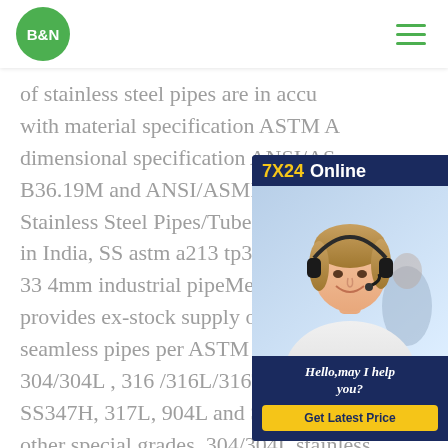B&N
of stainless steel pipes are in accordance with material specification ASTM A, dimensional specification ANSI/ASME B36.19M and ANSI/ASME B36.10. Stainless Steel Pipes/Tubes Manufacturer in India, SS astm a213 tp304 304 33 4mm industrial pipeMetline India provides ex-stock supply of stainless seamless pipes per ASTM A312 in 304/304L , 316 /316L/316Ti, 321H, SS347H, 317L, 904L and SS446 among other special grades. 304/304L stainless steel pipes/tubes and 316 /316L stainless
[Figure (photo): Customer service representative woman with headset smiling, with 7X24 Online chat widget overlay, dark blue background with 'Hello, may I help you?' text and yellow 'Get Latest Price' button]